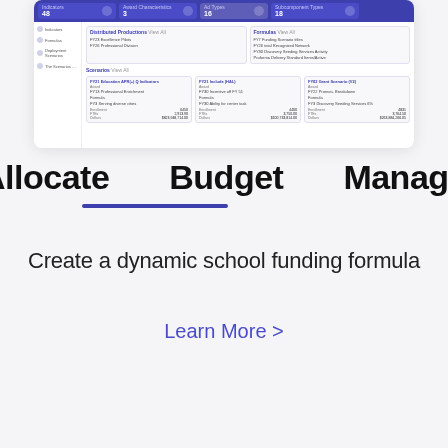[Figure (screenshot): Screenshot of a school funding allocation software UI showing stat boxes (Indicators: 48, Award Characteristics: 3, Ad Types: 16, Subcomponent Types: 18), sidebar navigation, and grant scenario cards with funding formula details and dollar amounts.]
Allocate   Budget   Manage
Create a dynamic school funding formula
Learn More >